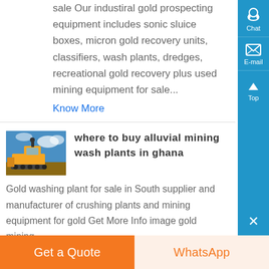sale Our industiral gold prospecting equipment includes sonic sluice boxes, micron gold recovery units, classifiers, wash plants, dredges, recreational gold recovery plus used mining equipment for sale...
Know More
[Figure (photo): Yellow mining equipment/bulldozer against blue sky]
where to buy alluvial mining wash plants in ghana
Gold washing plant for sale in South supplier and manufacturer of crushing plants and mining equipment for gold Get More Info image gold mining
Get a Quote
WhatsApp